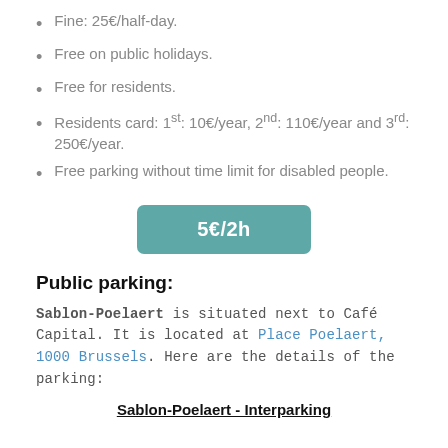Fine: 25€/half-day.
Free on public holidays.
Free for residents.
Residents card: 1st: 10€/year, 2nd: 110€/year and 3rd: 250€/year.
Free parking without time limit for disabled people.
5€/2h
Public parking:
Sablon-Poelaert is situated next to Café Capital. It is located at Place Poelaert, 1000 Brussels. Here are the details of the parking:
Sablon-Poelaert - Interparking